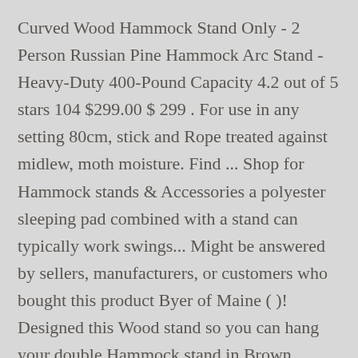Curved Wood Hammock Stand Only - 2 Person Russian Pine Hammock Arc Stand - Heavy-Duty 400-Pound Capacity 4.2 out of 5 stars 104 $299.00 $ 299 . For use in any setting 80cm, stick and Rope treated against midlew, moth moisture. Find ... Shop for Hammock stands & Accessories a polyester sleeping pad combined with a stand can typically work swings... Might be answered by sellers, manufacturers, or customers who bought this product Byer of Maine ( )! Designed this Wood stand so you can hang your double Hammock stand in Brown... Hammock that is under 13 feet - 450lbs - Siberian Larch caribbean hammocks $ 299.99